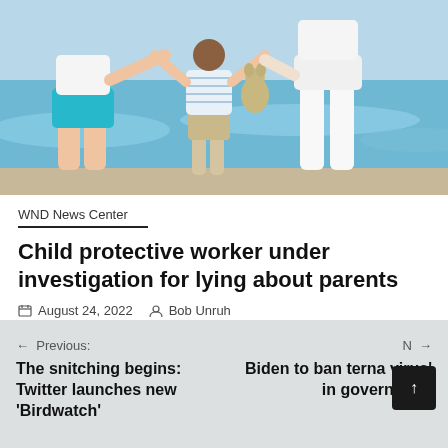[Figure (photo): Family of three at beach viewed from behind: woman in teal shorts and white top, small boy in striped shirt holding stuffed animal, taller person in white pants, walking toward ocean waves.]
WND News Center
Child protective worker under investigation for lying about parents
August 24, 2022   Bob Unruh
← Previous:
The snitching begins: Twitter launches new 'Birdwatch'
Next: →
Biden to ban ter… na virus' in government